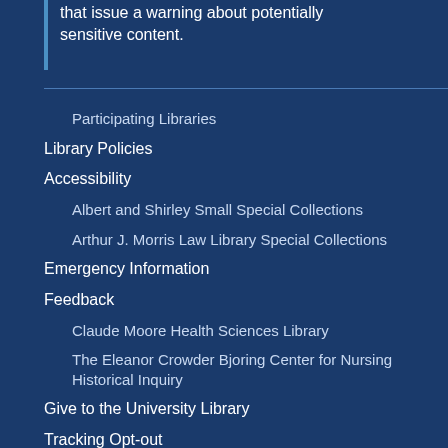that issue a warning about potentially sensitive content.
Participating Libraries
Library Policies
Accessibility
Albert and Shirley Small Special Collections
Arthur J. Morris Law Library Special Collections
Emergency Information
Feedback
Claude Moore Health Sciences Library
The Eleanor Crowder Bjoring Center for Nursing Historical Inquiry
Give to the University Library
Tracking Opt-out